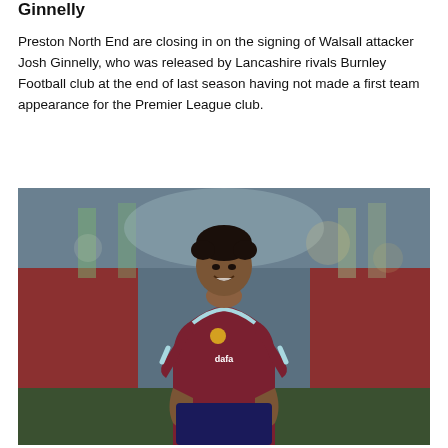Ginnelly
Preston North End are closing in on the signing of Walsall attacker Josh Ginnelly, who was released by Lancashire rivals Burnley Football club at the end of last season having not made a first team appearance for the Premier League club.
[Figure (photo): A young footballer wearing a claret and blue Burnley FC kit with Dafabet sponsor, smiling, photographed at a stadium with red seats visible in the background.]